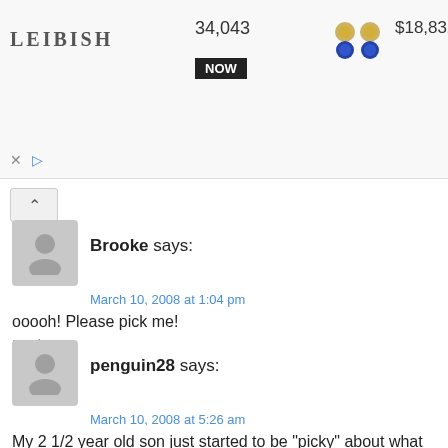[Figure (screenshot): Advertisement banner for Leibish jewelry showing product count 34,043 with NOW button, earrings priced $18,832, necklace priced $208,325, and other jewelry items. Close (x) and play controls visible at bottom left.]
Brooke says:
March 10, 2008 at 1:04 pm
ooooh! Please pick me!
Reply
penguin28 says:
March 10, 2008 at 5:26 am
My 2 1/2 year old son just started to be "picky" about what he eats so I can use any help I can get.